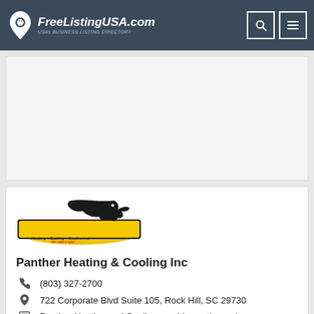FreeListingUSA.com — USAs BUSINESS LISTING DIRECTORY
[Figure (other): Ad placeholder area, empty white/light gray rectangle]
[Figure (logo): Panther Heating & Cooling logo with panther silhouette and yellow text: PANTHER Heating · Cooling · Geothermal, We make it right!]
Panther Heating & Cooling Inc
(803) 327-2700
722 Corporate Blvd Suite 105, Rock Hill, SC 29730
Panther Heating and Cooling provide geothermal, heat pump, air conditioning, and furnace. Get the best...